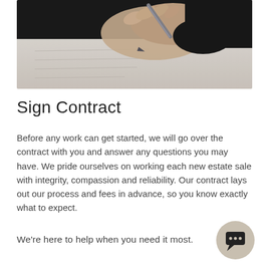[Figure (photo): Close-up of a hand holding a pen, signing a document on paper, person wearing dark clothing]
Sign Contract
Before any work can get started, we will go over the contract with you and answer any questions you may have. We pride ourselves on working each new estate sale with integrity, compassion and reliability. Our contract lays out our process and fees in advance, so you know exactly what to expect.
We're here to help when you need it most.
[Figure (illustration): Circular chat/message button icon with a speech bubble symbol, beige/tan background]